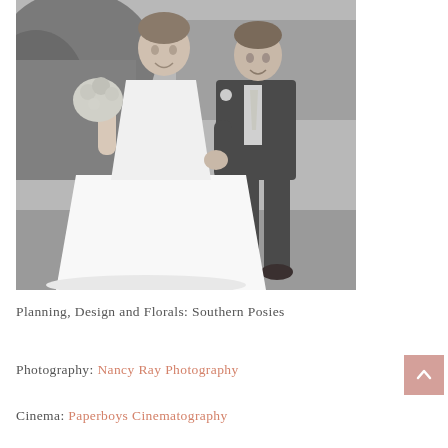[Figure (photo): Black and white wedding photo of a bride in a flowing white gown holding a bouquet and a groom in a dark suit, holding hands and walking on grass outdoors.]
Planning, Design and Florals: Southern Posies
Photography: Nancy Ray Photography
Cinema: Paperboys Cinematography